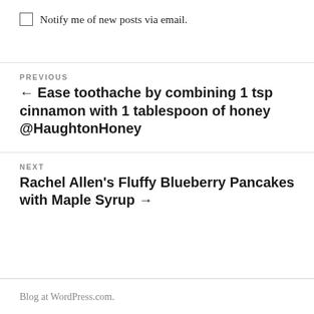Notify me of new posts via email.
PREVIOUS
← Ease toothache by combining 1 tsp cinnamon with 1 tablespoon of honey @HaughtonHoney
NEXT
Rachel Allen's Fluffy Blueberry Pancakes with Maple Syrup →
Blog at WordPress.com.